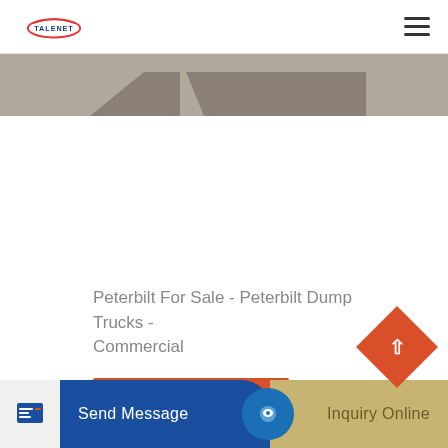TALENET
[Figure (photo): Partial view of dump trucks or construction vehicles, cropped image strip showing the top/roof sections in grey tones]
Peterbilt For Sale - Peterbilt Dump Trucks - Commercial
[Figure (screenshot): Orange/red Learn More button]
[Figure (screenshot): Bottom navigation bar with Send Message (blue) and Inquiry Online (tan/gold) buttons, and a red diamond back-to-top arrow button]